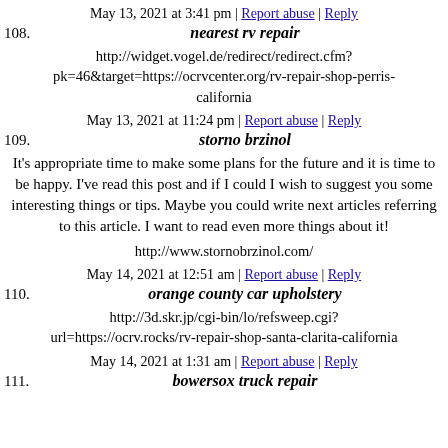May 13, 2021 at 3:41 pm | Report abuse | Reply
108. nearest rv repair
http://widget.vogel.de/redirect/redirect.cfm?pk=46&target=https://ocrvcenter.org/rv-repair-shop-perris-california
May 13, 2021 at 11:24 pm | Report abuse | Reply
109. storno brzinol
It's appropriate time to make some plans for the future and it is time to be happy. I've read this post and if I could I wish to suggest you some interesting things or tips. Maybe you could write next articles referring to this article. I want to read even more things about it!
http://www.stornobrzinol.com/
May 14, 2021 at 12:51 am | Report abuse | Reply
110. orange county car upholstery
http://3d.skr.jp/cgi-bin/lo/refsweep.cgi?url=https://ocrv.rocks/rv-repair-shop-santa-clarita-california
May 14, 2021 at 1:31 am | Report abuse | Reply
111. bowersox truck repair